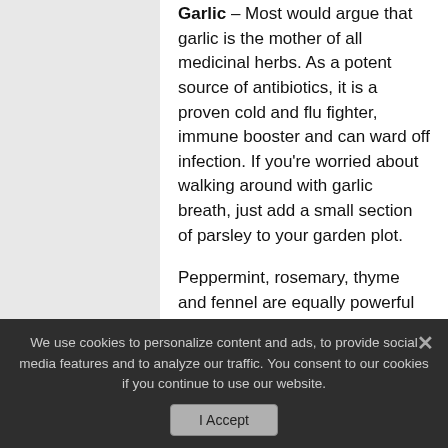Garlic – Most would argue that garlic is the mother of all medicinal herbs. As a potent source of antibiotics, it is a proven cold and flu fighter, immune booster and can ward off infection. If you're worried about walking around with garlic breath, just add a small section of parsley to your garden plot.
Peppermint, rosemary, thyme and fennel are equally powerful medicinal herbs rich in healing and regenerative properties, and should be included in your medicinal garden.
Full preparation for a potential long-term emergency isn't complete until your spice and herb medicine cabinet is full. With the range of healing and health strengthening
We use cookies to personalize content and ads, to provide social media features and to analyze our traffic. You consent to our cookies if you continue to use our website.